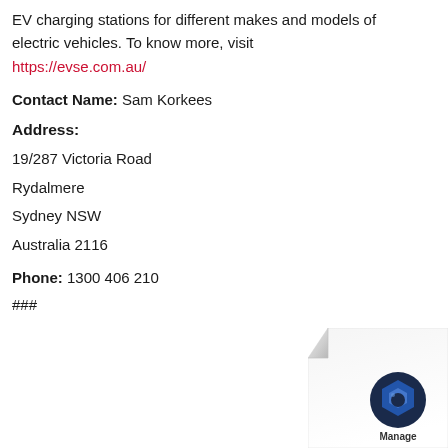EV charging stations for different makes and models of electric vehicles. To know more, visit https://evse.com.au/
Contact Name: Sam Korkees
Address:
19/287 Victoria Road
Rydalmere
Sydney NSW
Australia 2116
Phone: 1300 406 210
###
[Figure (logo): Manage engine logo with hexagon icon and page curl decoration in bottom right corner]